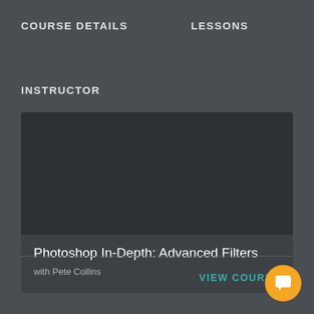COURSE DETAILS    LESSONS
INSTRUCTOR
[Figure (screenshot): Course card with dark image placeholder at top, showing course title and author]
Photoshop In-Depth: Advanced Filters
with Pete Collins
VIEW COURSE